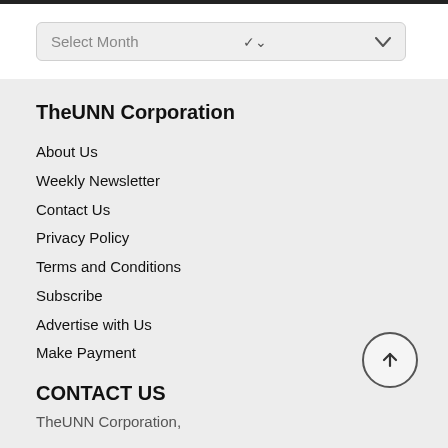[Figure (other): Dropdown selector with 'Select Month' placeholder and chevron arrow]
TheUNN Corporation
About Us
Weekly Newsletter
Contact Us
Privacy Policy
Terms and Conditions
Subscribe
Advertise with Us
Make Payment
CONTACT US
TheUNN Corporation,